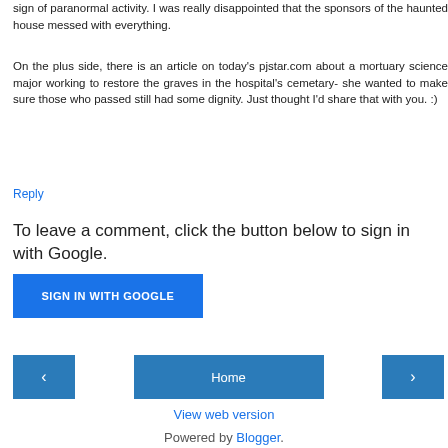sign of paranormal activity. I was really disappointed that the sponsors of the haunted house messed with everything.
On the plus side, there is an article on today's pjstar.com about a mortuary science major working to restore the graves in the hospital's cemetary- she wanted to make sure those who passed still had some dignity. Just thought I'd share that with you. :)
Reply
To leave a comment, click the button below to sign in with Google.
SIGN IN WITH GOOGLE
Home
View web version
Powered by Blogger.